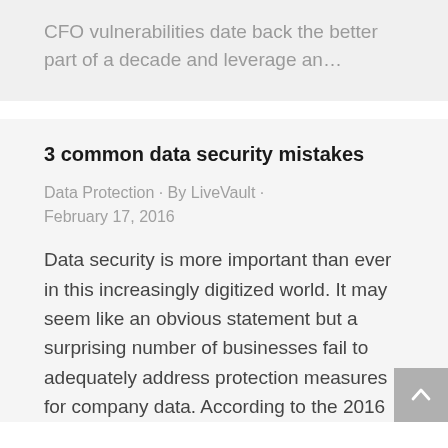CFO vulnerabilities date back the better part of a decade and leverage an...
3 common data security mistakes
Data Protection · By LiveVault · February 17, 2016
Data security is more important than ever in this increasingly digitized world. It may seem like an obvious statement but a surprising number of businesses fail to adequately address protection measures for company data. According to the 2016